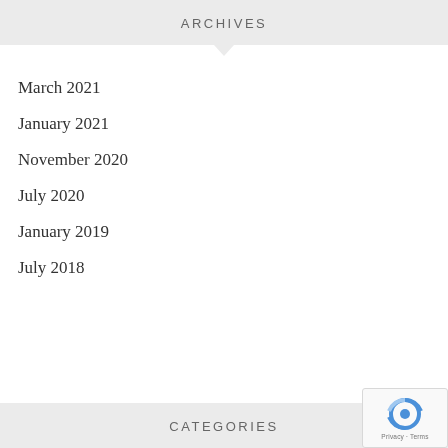ARCHIVES
March 2021
January 2021
November 2020
July 2020
January 2019
July 2018
CATEGORIES